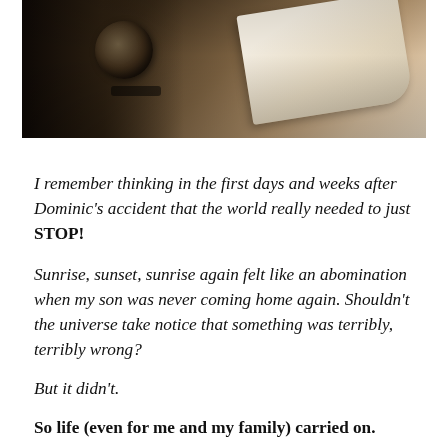[Figure (photo): Close-up photograph of a vintage typewriter with paper loaded, showing mechanical parts in sepia/brown tones]
I remember thinking in the first days and weeks after Dominic's accident that the world really needed to just STOP!
Sunrise, sunset, sunrise again felt like an abomination when my son was never coming home again. Shouldn't the universe take notice that something was terribly, terribly wrong?
But it didn't.
So life (even for me and my family) carried on.